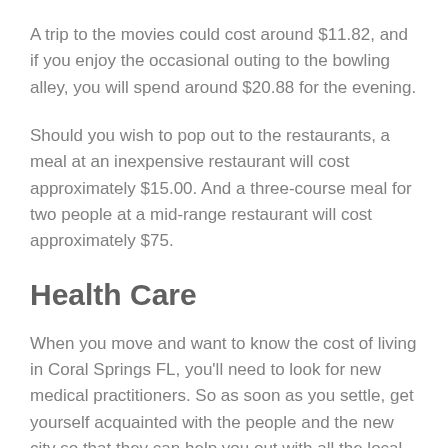A trip to the movies could cost around $11.82, and if you enjoy the occasional outing to the bowling alley, you will spend around $20.88 for the evening.
Should you wish to pop out to the restaurants, a meal at an inexpensive restaurant will cost approximately $15.00. And a three-course meal for two people at a mid-range restaurant will cost approximately $75.
Health Care
When you move and want to know the cost of living in Coral Springs FL, you'll need to look for new medical practitioners. So as soon as you settle, get yourself acquainted with the people and the new city so that they can help you out with all the local information.